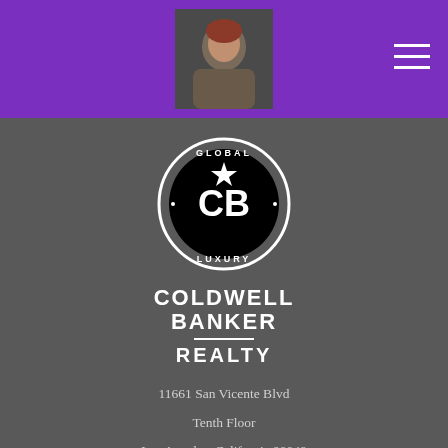[Figure (photo): Purple header bar with agent headshot photo in center and hamburger menu icon top right]
[Figure (logo): Coldwell Banker Global Luxury circular logo in black and white with CB initials and star]
COLDWELL BANKER REALTY
11661 San Vicente Blvd
Tenth Floor
Los Angeles, California 90049
Email: ceschiffer@gmail.com
Office: 310-442-1384